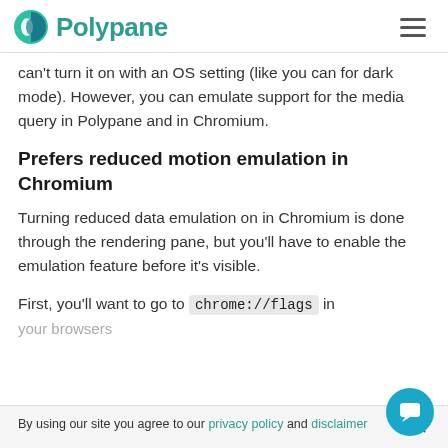Polypane
can't turn it on with an OS setting (like you can for dark mode). However, you can emulate support for the media query in Polypane and in Chromium.
Prefers reduced motion emulation in Chromium
Turning reduced data emulation on in Chromium is done through the rendering pane, but you'll have to enable the emulation feature before it's visible.
First, you'll want to go to chrome://flags in your browsers
By using our site you agree to our privacy policy and disclaimer